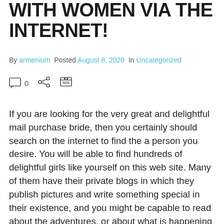WITH WOMEN VIA THE INTERNET!
By armenium  Posted August 8, 2020  In Uncategorized
If you are looking for the very great and delightful mail purchase bride, then you certainly should search on the internet to find the a person you desire. You will be able to find hundreds of delightful girls like yourself on this web site. Many of them have their private blogs in which they publish pictures and write something special in their existence, and you might be capable to read about the adventures, or about what is happening in their lives. There are many ladies who are happy and successful with their partners because they find out that they can have a very gorgeous mail order bride, without